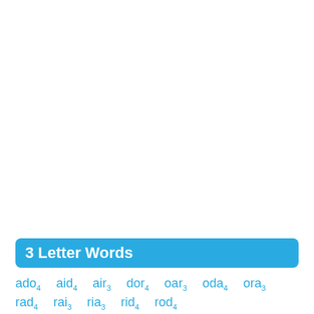3 Letter Words
ado4  aid4  air3  dor4  oar3  oda4  ora3
rad4  rai3  ria3  rid4  rod4